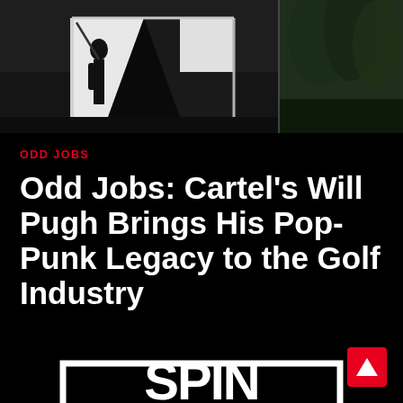[Figure (photo): Outdoor scene split into two panels: left shows a person near a black and white tent/canopy structure, right shows green foliage/trees. Dark moody photography.]
ODD JOBS
Odd Jobs: Cartel's Will Pugh Brings His Pop-Punk Legacy to the Golf Industry
[Figure (logo): SPIN magazine logo — white bold letters 'SPIN' with a white rectangular border, on black background. Red scroll-to-top button in bottom right corner.]